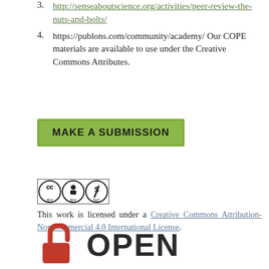3. http://senseaboutscience.org/activities/peer-review-the-nuts-and-bolts/
4. https://publons.com/community/academy/ Our COPE materials are available to use under the Creative Commons Attributes.
MAKE A SUBMISSION
[Figure (logo): Creative Commons BY-NC license badge showing CC, BY, and NC icons in black and white]
This work is licensed under a Creative Commons Attribution-NonCommercial 4.0 International License.
[Figure (logo): Open access lock logo in red, partially visible at bottom, with the word OPEN in large bold dark text]